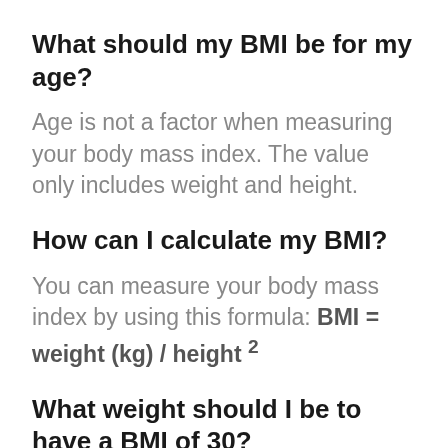What should my BMI be for my age?
Age is not a factor when measuring your body mass index. The value only includes weight and height.
How can I calculate my BMI?
You can measure your body mass index by using this formula: BMI = weight (kg) / height ²
What weight should I be to have a BMI of 30?
You can use a reverse calculator to determine what weight you should be to